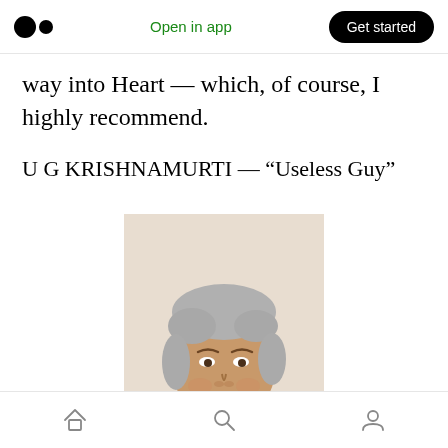Open in app | Get started
way into Heart — which, of course, I highly recommend.
U G KRISHNAMURTI — “Useless Guy”
[Figure (photo): Portrait photograph of U G Krishnamurti, an older man with silver-grey hair, smiling, wearing a white turtleneck sweater, against a light beige background.]
Home | Search | Profile